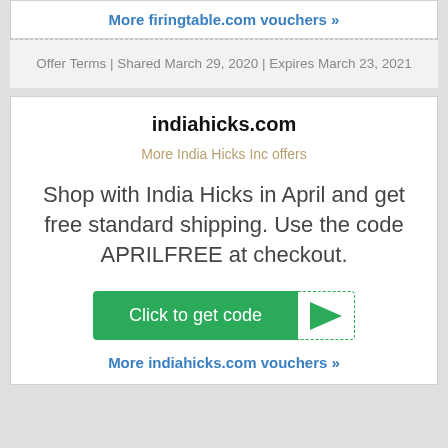More firingtable.com vouchers »
Offer Terms | Shared March 29, 2020 | Expires March 23, 2021
indiahicks.com
More India Hicks Inc offers
Shop with India Hicks in April and get free standard shipping. Use the code APRILFREE at checkout.
[Figure (other): Click to get code button with green background and a triangle/arrow element on the right with dashed border]
More indiahicks.com vouchers »